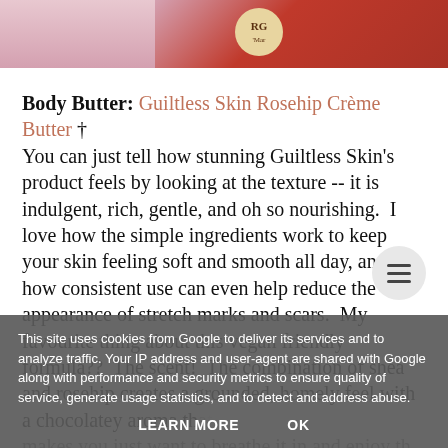[Figure (photo): Two product photos at top: left shows a partial view with pink/mauve background, right shows a jar with RG logo label on red background]
Body Butter: Guiltless Skin Rosehip Crème Butter † You can just tell how stunning Guiltless Skin's product feels by looking at the texture -- it is indulgent, rich, gentle, and oh so nourishing. I love how the simple ingredients work to keep your skin feeling soft and smooth all day, and how consistent use can even help reduce the appearance of stretch marks and scars. My favourite thing about this vegan friendly formula?? The scent! The combination of shea and rosehip creates a grounded, homely feel with a chocolatey aroma that makes you just want to breathe it in and enjoy the moment… For all these reasons I have to give this my top pick for body butter.
This site uses cookies from Google to deliver its services and to analyze traffic. Your IP address and user-agent are shared with Google along with performance and security metrics to ensure quality of service, generate usage statistics, and to detect and address abuse.
LEARN MORE    OK